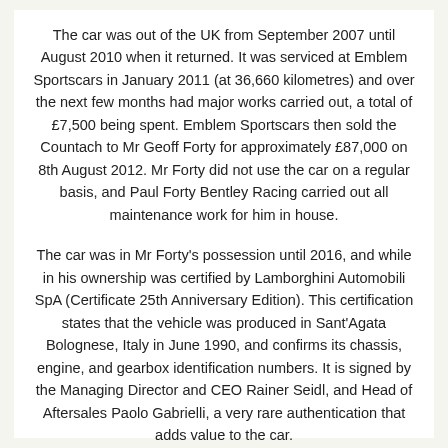The car was out of the UK from September 2007 until August 2010 when it returned. It was serviced at Emblem Sportscars in January 2011 (at 36,660 kilometres) and over the next few months had major works carried out, a total of £7,500 being spent. Emblem Sportscars then sold the Countach to Mr Geoff Forty for approximately £87,000 on 8th August 2012. Mr Forty did not use the car on a regular basis, and Paul Forty Bentley Racing carried out all maintenance work for him in house.
The car was in Mr Forty's possession until 2016, and while in his ownership was certified by Lamborghini Automobili SpA (Certificate 25th Anniversary Edition). This certification states that the vehicle was produced in Sant'Agata Bolognese, Italy in June 1990, and confirms its chassis, engine, and gearbox identification numbers. It is signed by the Managing Director and CEO Rainer Seidl, and Head of Aftersales Paolo Gabrielli, a very rare authentication that adds value to the car.